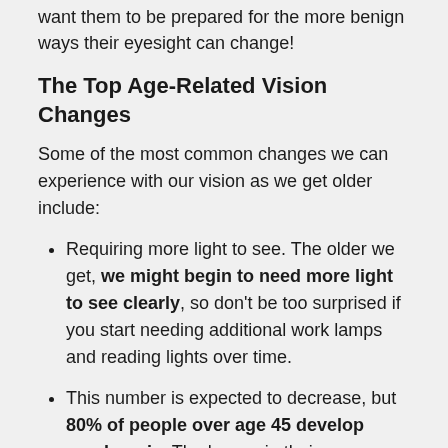want them to be prepared for the more benign ways their eyesight can change!
The Top Age-Related Vision Changes
Some of the most common changes we can experience with our vision as we get older include:
Requiring more light to see. The older we get, we might begin to need more light to see clearly, so don't be too surprised if you start needing additional work lamps and reading lights over time.
This number is expected to decrease, but 80% of people over age 45 develop presbyopia. The lenses in their eyes become less flexible, making it increasingly difficult to focus on near objects or words on a page. Presbyopia is the reason many